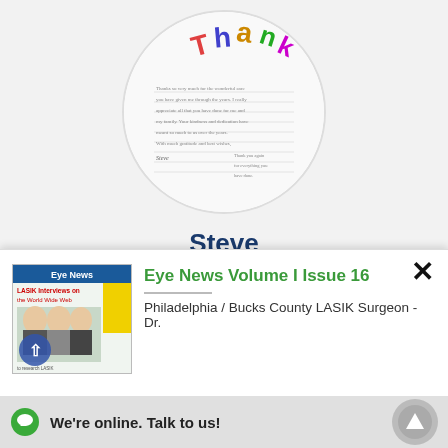[Figure (illustration): Circular cropped image of a handwritten thank-you letter with colorful decorative text at top]
Steve
Thanks To All of You, Only the warmest "Thank You" will do For people as nice And as special as you! Steve Dr. Lewis, Thank you so much for a wonderful Surgery. Everyday my wife asks me why I am smiling so much. I tell her it's because my vision is the best it has ever been without
[Figure (photo): Thumbnail image of Eye News magazine cover showing LASIK interviews]
Eye News Volume I Issue 16
Philadelphia / Bucks County LASIK Surgeon - Dr.
We're online. Talk to us!